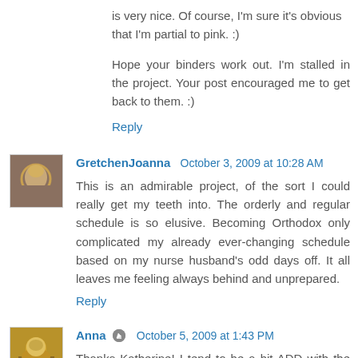is very nice. Of course, I'm sure it's obvious that I'm partial to pink. :)
Hope your binders work out. I'm stalled in the project. Your post encouraged me to get back to them. :)
Reply
GretchenJoanna  October 3, 2009 at 10:28 AM
This is an admirable project, of the sort I could really get my teeth into. The orderly and regular schedule is so elusive. Becoming Orthodox only complicated my already ever-changing schedule based on my nurse husband's odd days off. It all leaves me feeling always behind and unprepared.
Reply
Anna  October 5, 2009 at 1:43 PM
Thanks Katherine! I tend to be a bit ADD with the banner and colors of the blog - love to change with the seasons or events :)